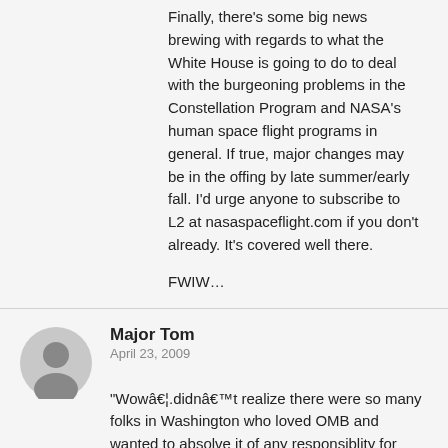Finally, there's some big news brewing with regards to what the White House is going to do to deal with the burgeoning problems in the Constellation Program and NASA's human space flight programs in general. If true, major changes may be in the offing by late summer/early fall. I'd urge anyone to subscribe to L2 at nasaspaceflight.com if you don't already. It's covered well there.

FWIW…
Major Tom
April 23, 2009

"Wowâ€¦.didnâ€™t realize there were so many folks in Washington who loved OMB and wanted to absolve it of any responsiblity for performing its basic functions."

Please reread the earlier posts. No one stated that they wanted to "absolve" OMB of all responsibility. The argument was that Griffin was placing blame where it didn't belong. Griffin was blaming OMB civil servant staff in his speech for budget decisions that they simply don't have the authority to make. Those decisions are made by the political staff at OMB (program associated directors, the deputy director, and the director of OMB), by the West Wing staff, and by the VPOTUS and POTUS. There's also…